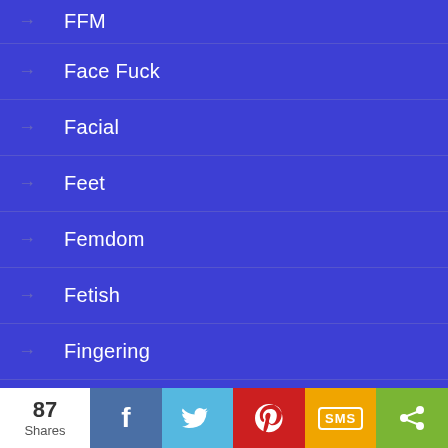FFM
Face Fuck
Facial
Feet
Femdom
Fetish
Fingering
Footjob
Fuck
87 Shares | Facebook | Twitter | Pinterest | SMS | Share